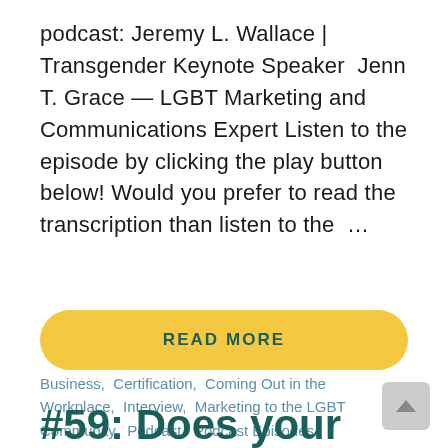podcast: Jeremy L. Wallace | Transgender Keynote Speaker  Jenn T. Grace — LGBT Marketing and Communications Expert Listen to the episode by clicking the play button below! Would you prefer to read the transcription than listen to the …
READ MORE
Business, Certification, Coming Out in the Workplace, Interview, Marketing to the LGBT Community, Podcast, Podcast Episodes, Supplier Diversity Initiatives, You Might - Business Owner, You Might - Workplace Equality
#59: Does your